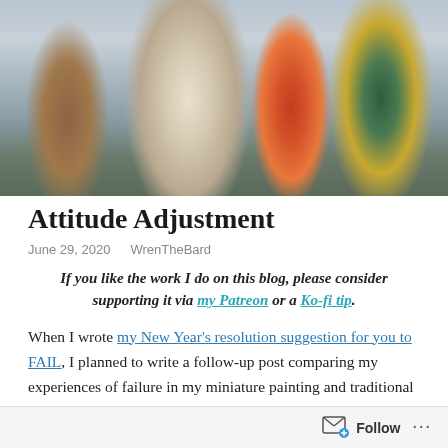[Figure (photo): Painted miniature figurines scene with a robed figure on left, a marble column in center, a woman in red dress and a figure in teal cloak on right, on a stone-textured base]
Attitude Adjustment
June 29, 2020   WrenTheBard
If you like the work I do on this blog, please consider supporting it via my Patreon or a Ko-fi tip.
When I wrote my New Year's resolution suggestion for you to FAIL, I planned to write a follow-up post comparing my experiences of failure in my miniature painting and traditional art journeys. Writing that turned out to be much more challenging than I expected, in ways both related and